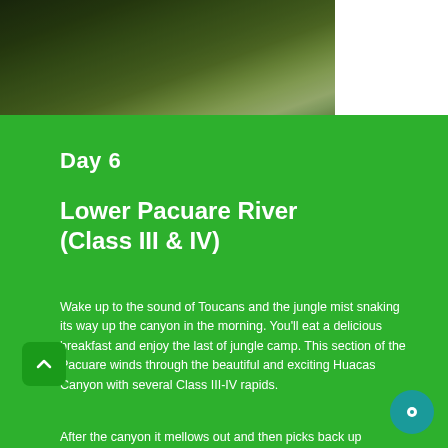[Figure (photo): Jungle/forest scene with green canopy and mist, shown as a horizontal banner at the top of the page]
Day 6
Lower Pacuare River (Class III & IV)
Wake up to the sound of Toucans and the jungle mist snaking its way up the canyon in the morning. You'll eat a delicious breakfast and enjoy the last of jungle camp. This section of the Pacuare winds through the beautiful and exciting Huacas Canyon with several Class III-IV rapids.
After the canyon it mellows out and then picks back up